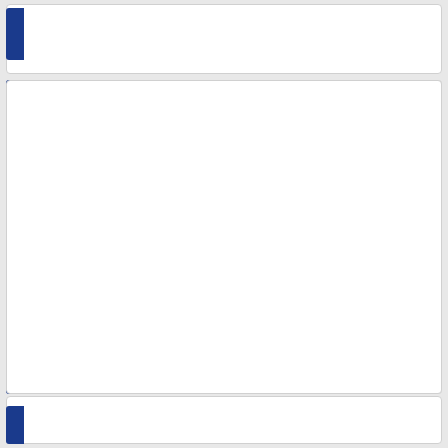[Figure (logo): Golden Nugget Casino.com logo in gold and blue]
100% Welcome Bonus up to $1,000
PROMO CODE
ACTIVATE CODE
PLAY NOW
Read Expert Review
11